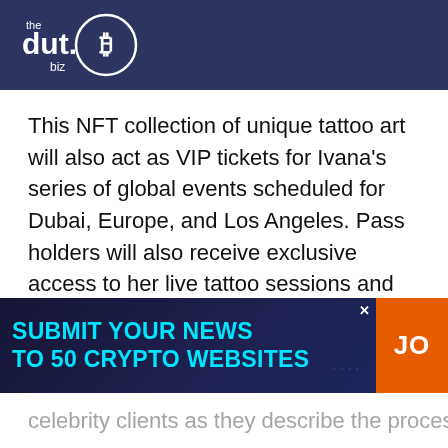the dut.B biz
This NFT collection of unique tattoo art will also act as VIP tickets for Ivana's series of global events scheduled for Dubai, Europe, and Los Angeles. Pass holders will also receive exclusive access to her live tattoo sessions and will have a special opportunity to win a tattoo of their very own, including a collection of other physical items with their NFT Tattoo
[Figure (infographic): Advertisement banner: SUBMIT YOUR NEWS TO 50 CRYPTO WEBSITES with a JOIN button on the right]
celebrity clients as they describe the process